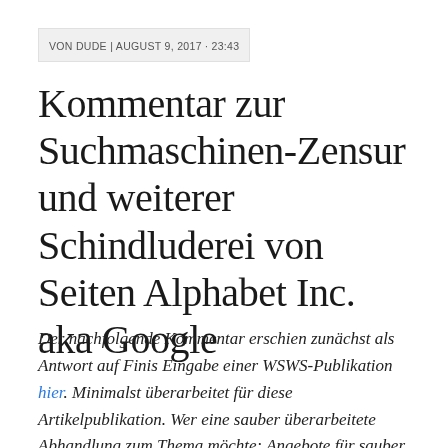VON DUDE | AUGUST 9, 2017 · 23:43
Kommentar zur Suchmaschinen-Zensur und weiterer Schindluderei von Seiten Alphabet Inc. aka Google
Der nachfolgende Kommentar erschien zunächst als Antwort auf Finis Eingabe einer WSWS-Publikation hier. Minimalst überarbeitet für diese Artikelpublikation. Wer eine sauber überarbeitete Abhandlung zum Thema möchte: Angebote für sauber ausgearbeitete Auftragsarbeiten (die im Regelfall ein hohes